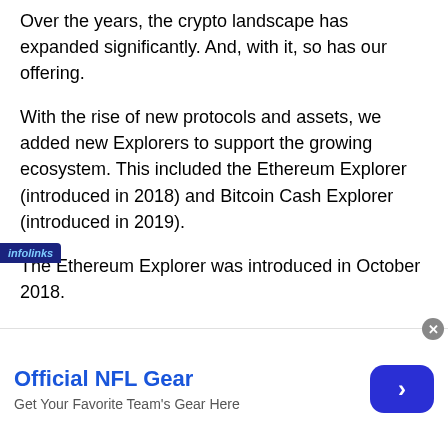Over the years, the crypto landscape has expanded significantly. And, with it, so has our offering.
With the rise of new protocols and assets, we added new Explorers to support the growing ecosystem. This included the Ethereum Explorer (introduced in 2018) and Bitcoin Cash Explorer (introduced in 2019).
The Ethereum Explorer was introduced in October 2018.
And as new use cases emerged, we continued to add more data and insights. In 2021, we introduced the NFT and DeFi Explorers to help users better understand and participate in
[Figure (infographic): Infolinks advertising banner showing 'Official NFL Gear - Get Your Favorite Team's Gear Here' with a blue arrow button and close button]